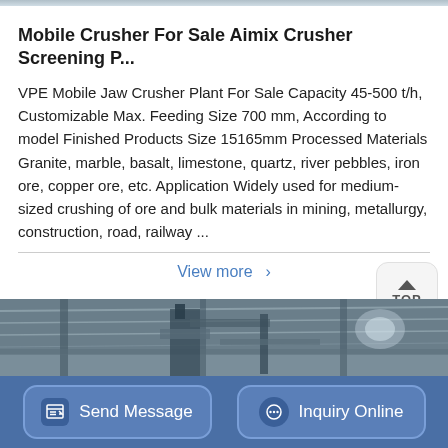[Figure (photo): Top navigation bar image strip at the top of the page]
Mobile Crusher For Sale Aimix Crusher Screening P...
VPE Mobile Jaw Crusher Plant For Sale Capacity 45-500 t/h, Customizable Max. Feeding Size 700 mm, According to model Finished Products Size 15165mm Processed Materials Granite, marble, basalt, limestone, quartz, river pebbles, iron ore, copper ore, etc. Application Widely used for medium-sized crushing of ore and bulk materials in mining, metallurgy, construction, road, railway ...
View more ›
[Figure (photo): Interior photo of an industrial facility showing metal roof structure, beams, and machinery]
Send Message
Inquiry Online